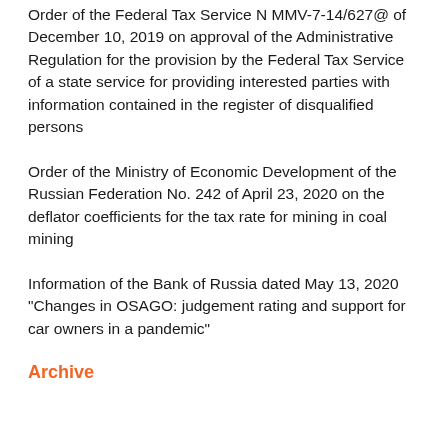Order of the Federal Tax Service N MMV-7-14/627@ of December 10, 2019 on approval of the Administrative Regulation for the provision by the Federal Tax Service of a state service for providing interested parties with information contained in the register of disqualified persons
Order of the Ministry of Economic Development of the Russian Federation No. 242 of April 23, 2020 on the deflator coefficients for the tax rate for mining in coal mining
Information of the Bank of Russia dated May 13, 2020 "Changes in OSAGO: judgement rating and support for car owners in a pandemic"
Archive